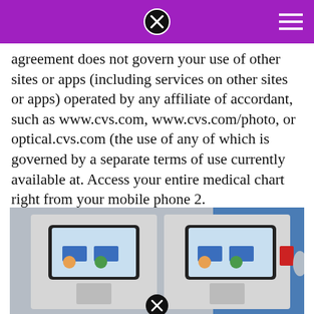[purple navigation bar with close button and hamburger menu]
agreement does not govern your use of other sites or apps (including services on other sites or apps) operated by any affiliate of accordant, such as www.cvs.com, www.cvs.com/photo, or optical.cvs.com (the use of any of which is governed by a separate terms of use currently available at. Access your entire medical chart right from your mobile phone 2.
[Figure (photo): Photo of CVS pharmacy self-service kiosk stations with touchscreen monitors showing a patient portal interface, set in a clinic or pharmacy environment with blue wall in background.]